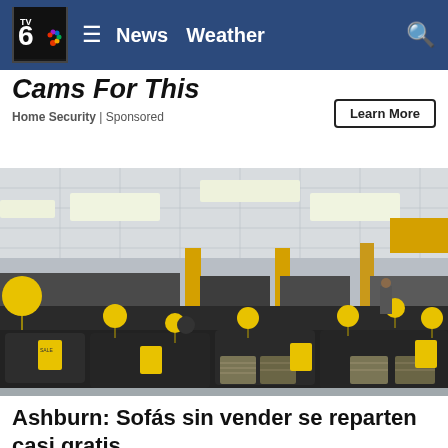TV6 NBC | News  Weather  [search]
Cams For This
Home Security | Sponsored
Learn More
[Figure (photo): Interior of a furniture store showroom with rows of dark leather sofas and sectionals decorated with yellow balloons and yellow price tags. The store has a drop ceiling with fluorescent lights and yellow pillars. Patterned throw pillows are arranged on some sofas.]
Ashburn: Sofás sin vender se reparten casi gratis